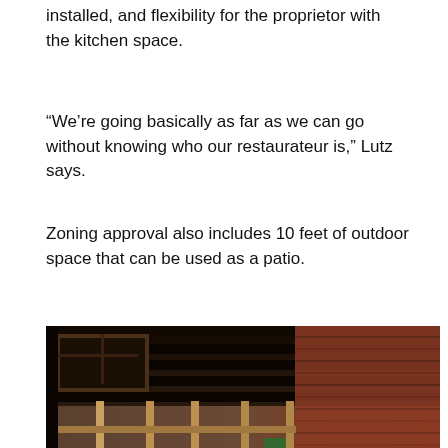installed, and flexibility for the proprietor with the kitchen space.
“We’re going basically as far as we can go without knowing who our restaurateur is,” Lutz says.
Zoning approval also includes 10 feet of outdoor space that can be used as a patio.
[Figure (photo): Interior construction photo showing exposed wood framing studs, dark ceiling joists/beams, a brick wall on the right side, and ladders (yellow and green) leaning against the wall. The space appears to be a gutted commercial building under renovation.]